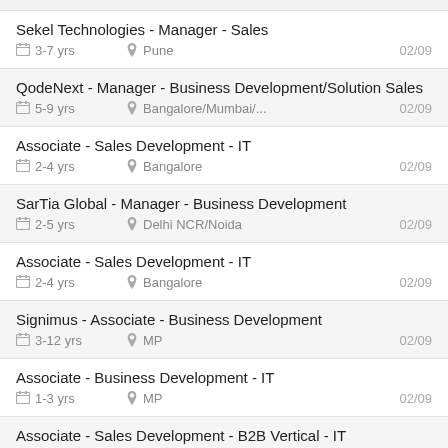Sekel Technologies - Manager - Sales
3-7 yrs  Pune  02/09
QodeNext - Manager - Business Development/Solution Sales
5-9 yrs  Bangalore/Mumbai/...  02/09
Associate - Sales Development - IT
2-4 yrs  Bangalore  02/09
SarTia Global - Manager - Business Development
2-5 yrs  Delhi NCR/Noida  02/09
Associate - Sales Development - IT
2-4 yrs  Bangalore  02/09
Signimus - Associate - Business Development
3-12 yrs  MP  02/09
Associate - Business Development - IT
1-3 yrs  MP  02/09
Associate - Sales Development - B2B Vertical - IT
2-4 yrs  Bangalore  02/09
Executive - Business Development - IT